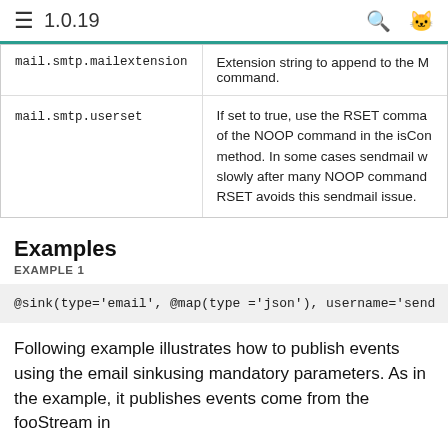1.0.19
| Property | Description |
| --- | --- |
| mail.smtp.mailextension | Extension string to append to the M command. |
| mail.smtp.userset | If set to true, use the RSET comma of the NOOP command in the isCon method. In some cases sendmail w slowly after many NOOP command RSET avoids this sendmail issue. |
Examples
EXAMPLE 1
@sink(type='email',  @map(type ='json'),  username='send
Following example illustrates how to publish events using the email sinkusing mandatory parameters. As in the example, it publishes events come from the fooStream in